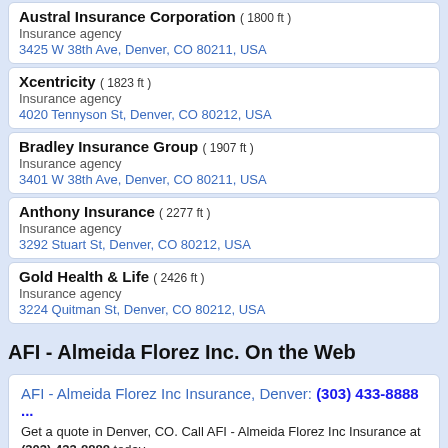Austral Insurance Corporation ( 1800 ft )
Insurance agency
3425 W 38th Ave, Denver, CO 80211, USA
Xcentricity ( 1823 ft )
Insurance agency
4020 Tennyson St, Denver, CO 80212, USA
Bradley Insurance Group ( 1907 ft )
Insurance agency
3401 W 38th Ave, Denver, CO 80211, USA
Anthony Insurance ( 2277 ft )
Insurance agency
3292 Stuart St, Denver, CO 80212, USA
Gold Health & Life ( 2426 ft )
Insurance agency
3224 Quitman St, Denver, CO 80212, USA
AFI - Almeida Florez Inc. On the Web
AFI - Almeida Florez Inc Insurance, Denver: (303) 433-8888 ...
Get a quote in Denver, CO. Call AFI - Almeida Florez Inc Insurance at (303) 433-8888 today.